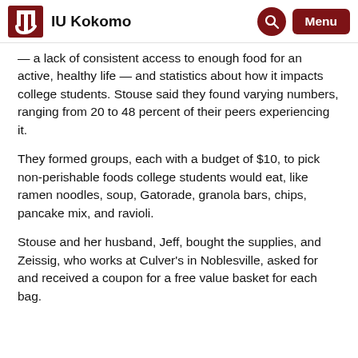IU Kokomo
— a lack of consistent access to enough food for an active, healthy life — and statistics about how it impacts college students. Stouse said they found varying numbers, ranging from 20 to 48 percent of their peers experiencing it.
They formed groups, each with a budget of $10, to pick non-perishable foods college students would eat, like ramen noodles, soup, Gatorade, granola bars, chips, pancake mix, and ravioli.
Stouse and her husband, Jeff, bought the supplies, and Zeissig, who works at Culver's in Noblesville, asked for and received a coupon for a free value basket for each bag.